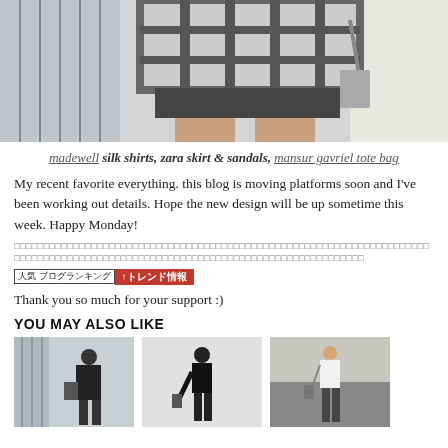[Figure (photo): Fashion photo showing a person in a plaid/checkered silk shirt and dark skirt, cropped at torso and legs level, outdoor setting]
madewell silk shirts, zara skirt & sandals, mansur gavriel tote bag
My recent favorite everything. this blog is moving platforms soon and I've been working out details. Hope the new design will be up sometime this week. Happy Monday!
□□□□□□□□□□□□□□□□□□□□□□□□□□□□□□□□□□□□□□□□□□□□□□□□□□□□□□□□□□□□□□□□□□□□□□□□□□□□□□□□□□□□□□□□□□□□□□□□□□□□□□□□□□□□□□□□□□□□□□□□□□□□□□□□□□□□□□□□□□□□□□□□□□□□□□□□□□□□□□□□□□□□□□□□□
[Figure (logo): Japanese blog ranking badge with red banner reading トレンド情報]
Thank you so much for your support :)
YOU MAY ALSO LIKE
[Figure (photo): Fashion thumbnail 1: Person in dark outfit standing near a building]
[Figure (photo): Fashion thumbnail 2: Person in dark top standing in profile]
[Figure (photo): Fashion thumbnail 3: Person in white top and dark pants]